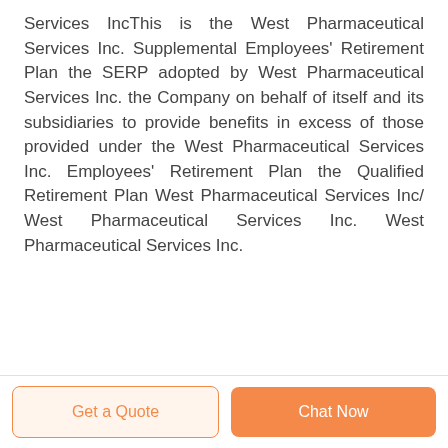Services IncThis is the West Pharmaceutical Services Inc. Supplemental Employees' Retirement Plan the SERP adopted by West Pharmaceutical Services Inc. the Company on behalf of itself and its subsidiaries to provide benefits in excess of those provided under the West Pharmaceutical Services Inc. Employees' Retirement Plan the Qualified Retirement Plan West Pharmaceutical Services Inc/ West Pharmaceutical Services Inc. West Pharmaceutical Services Inc.
Get a Quote   Chat Now